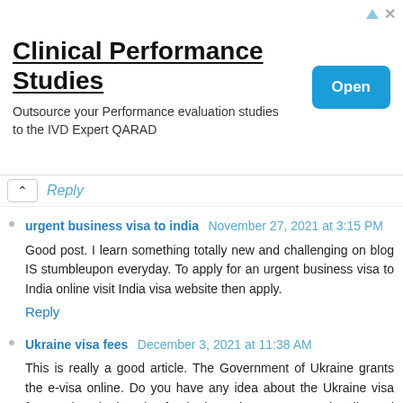[Figure (other): Advertisement banner for Clinical Performance Studies by QARAD, with an Open button]
Reply
urgent business visa to india  November 27, 2021 at 3:15 PM
Good post. I learn something totally new and challenging on blog IS stumbleupon everyday. To apply for an urgent business visa to India online visit India visa website then apply.
Reply
Ukraine visa fees  December 3, 2021 at 11:38 AM
This is really a good article. The Government of Ukraine grants the e-visa online. Do you have any idea about the Ukraine visa fees?. The Ukraine visa fee is dependent on your nationality and type of visa.